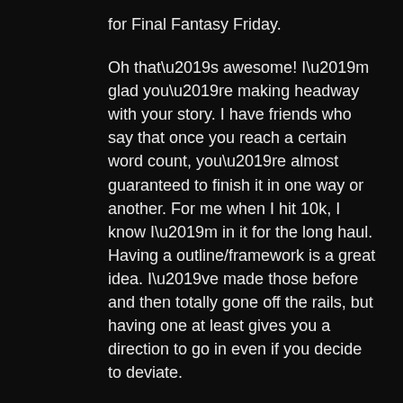for Final Fantasy Friday.
Oh that’s awesome! I’m glad you’re making headway with your story. I have friends who say that once you reach a certain word count, you’re almost guaranteed to finish it in one way or another. For me when I hit 10k, I know I’m in it for the long haul. Having a outline/framework is a great idea. I’ve made those before and then totally gone off the rails, but having one at least gives you a direction to go in even if you decide to deviate.
I know you’ll be able to check “wrote a novel” off on your list. I totally believe 🙂